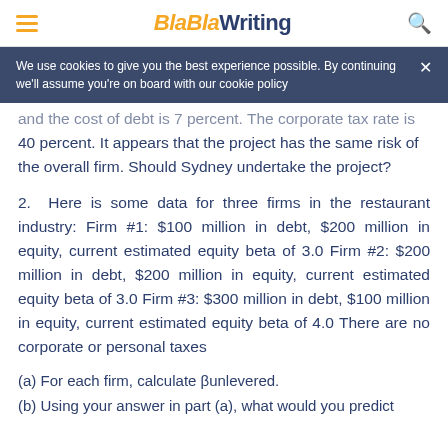BlaBlaWriting
We use cookies to give you the best experience possible. By continuing we'll assume you're on board with our cookie policy
and the cost of debt is 7 percent. The corporate tax rate is 40 percent. It appears that the project has the same risk of the overall firm. Should Sydney undertake the project?
2. Here is some data for three firms in the restaurant industry: Firm #1: $100 million in debt, $200 million in equity, current estimated equity beta of 3.0 Firm #2: $200 million in debt, $200 million in equity, current estimated equity beta of 3.0 Firm #3: $300 million in debt, $100 million in equity, current estimated equity beta of 4.0 There are no corporate or personal taxes
(a) For each firm, calculate βunlevered.
(b) Using your answer in part (a), what would you predict